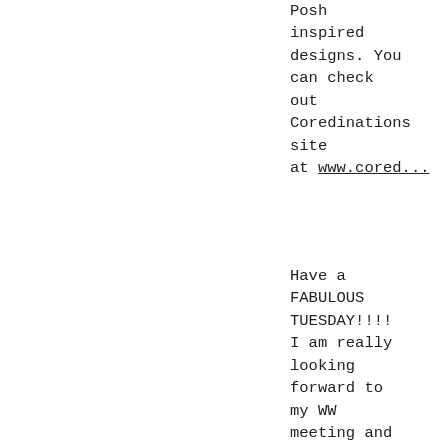Posh inspired designs. You can check out Coredinations site at www.cored...
Have a FABULOUS TUESDAY!!!!! I am really looking forward to my WW meeting and keeping my motivation